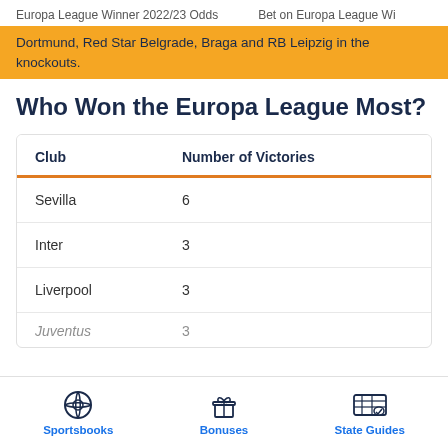Europa League Winner 2022/23 Odds    Bet on Europa League Wi
Dortmund, Red Star Belgrade, Braga and RB Leipzig in the knockouts.
Who Won the Europa League Most?
| Club | Number of Victories |
| --- | --- |
| Sevilla | 6 |
| Inter | 3 |
| Liverpool | 3 |
| Juventus | 3 |
Sportsbooks   Bonuses   State Guides